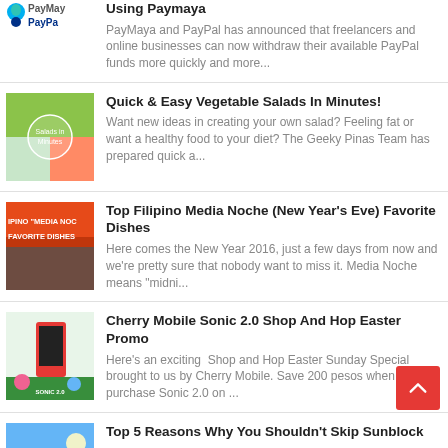[Figure (logo): PayPal logo with PayPa text (partially visible)]
Using Paymaya
PayMaya and PayPal has announced that freelancers and online businesses can now withdraw their available PayPal funds more quickly and more...
[Figure (photo): Salads in Minutes thumbnail image]
Quick & Easy Vegetable Salads In Minutes!
Want new ideas in creating your own salad? Feeling fat or want a healthy food to your diet? The Geeky Pinas Team has prepared quick a...
[Figure (photo): Filipino Media Noche Favorite Dishes thumbnail]
Top Filipino Media Noche (New Year's Eve) Favorite Dishes
Here comes the New Year 2016, just a few days from now and we're pretty sure that nobody want to miss it. Media Noche means "midni...
[Figure (photo): Cherry Mobile Sonic 2.0 thumbnail]
Cherry Mobile Sonic 2.0 Shop And Hop Easter Promo
Here's an exciting  Shop and Hop Easter Sunday Special   brought to us by Cherry Mobile. Save 200 pesos when you purchase Sonic 2.0 on ...
[Figure (photo): Blue background partial thumbnail]
Top 5 Reasons Why You Shouldn't Skip Sunblock